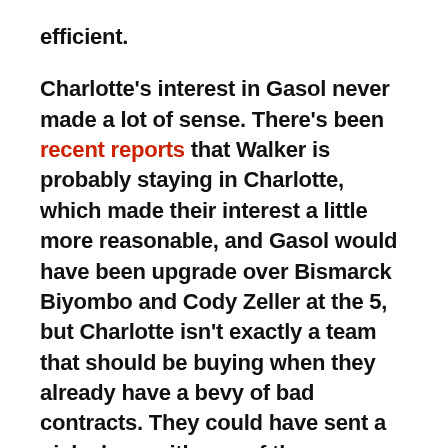efficient.
Charlotte's interest in Gasol never made a lot of sense. There's been recent reports that Walker is probably staying in Charlotte, which made their interest a little more reasonable, and Gasol would have been upgrade over Bismarck Biyombo and Cody Zeller at the 5, but Charlotte isn't exactly a team that should be buying when they already have a bevy of bad contracts. They could have sent a pick along with one of those contacts to make the deal better, but how would Gasol of been part of your future core that you're trying to build?